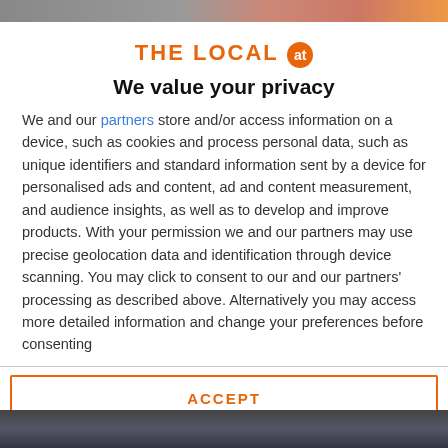THE LOCAL at
We value your privacy
We and our partners store and/or access information on a device, such as cookies and process personal data, such as unique identifiers and standard information sent by a device for personalised ads and content, ad and content measurement, and audience insights, as well as to develop and improve products. With your permission we and our partners may use precise geolocation data and identification through device scanning. You may click to consent to our and our partners' processing as described above. Alternatively you may access more detailed information and change your preferences before consenting
ACCEPT
MORE OPTIONS